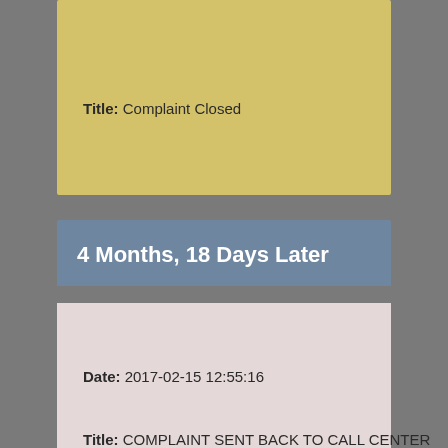Title: Complaint Closed
4 Months, 18 Days Later
Date: 2017-02-15 12:55:16
Title: COMPLAINT SENT BACK TO CALL CENTER FOR CLOSE THE CASE